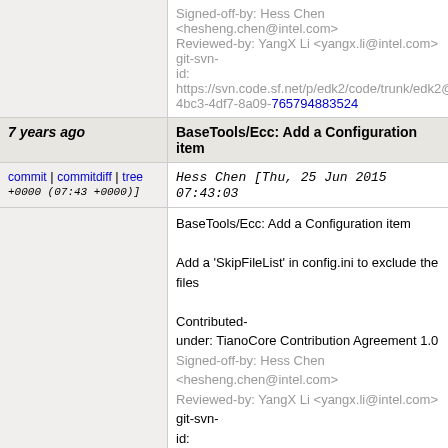Signed-off-by: Hess Chen <hesheng.chen@intel.com>
Reviewed-by: YangX Li <yangx.li@intel.com>
git-svn-id: https://svn.code.sf.net/p/edk2/code/trunk/edk2@...4bc3-4df7-8a09-765794883524
7 years ago | BaseTools/Ecc: Add a Configuration item
commit | commitdiff | tree
Hess Chen [Thu, 25 Jun 2015 07:43:03 +0000 (07:43 +0000)]
BaseTools/Ecc: Add a Configuration item

Add a 'SkipFileList' in config.ini to exclude the files

Contributed-under: TianoCore Contribution Agreement 1.0
Signed-off-by: Hess Chen <hesheng.chen@intel.com>
Reviewed-by: YangX Li <yangx.li@intel.com>
git-svn-id: https://svn.code.sf.net/p/edk2/code/trunk/edk2@...4bc3-4df7-8a09-765794883524
7 years ago | MdeModulePkg: Update PeiCore to handle specific child FV
commit | commitdiff | tree
Liming Gao [Thu, 25 Jun 2015 03:29:38